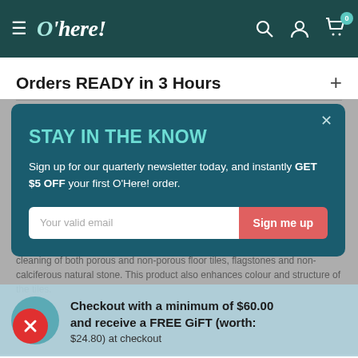O'here! — navigation header with hamburger menu, logo, search, account, and cart icons (badge: 0)
Orders READY in 3 Hours
[Figure (screenshot): Email newsletter sign-up modal popup with title 'STAY IN THE KNOW', body text 'Sign up for our quarterly newsletter today, and instantly GET $5 OFF your first O'Here! order.', email input field and 'Sign me up' button]
Checkout with a minimum of $60.00 and receive a FREE GiFT (worth: $24.80) at checkout
cleaning of both porous and non-porous floor tiles, flagstones and non-calciferous natural stone. This product also enhances colour and structure of the tiles.